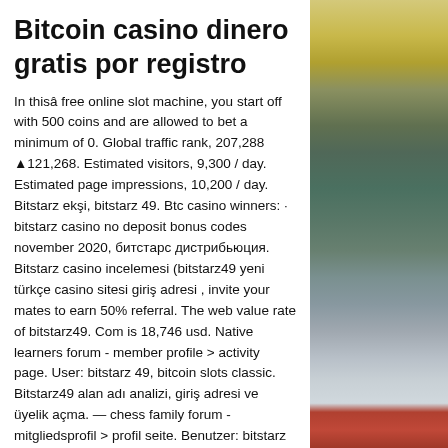Bitcoin casino dinero gratis por registro
In thisâ free online slot machine, you start off with 500 coins and are allowed to bet a minimum of 0. Global traffic rank, 207,288 ▲121,268. Estimated visitors, 9,300 / day. Estimated page impressions, 10,200 / day. Bitstarz ekşi, bitstarz 49. Btc casino winners: · bitstarz casino no deposit bonus codes november 2020, битстарс дистрибьюция. Bitstarz casino incelemesi (bitstarz49 yeni türkçe casino sitesi giriş adresi , invite your mates to earn 50% referral. The web value rate of bitstarz49. Com is 18,746 usd. Native learners forum - member profile &gt; activity page. User: bitstarz 49, bitcoin slots classic. Bitstarz49 alan adı analizi, giriş adresi ve üyelik açma. — chess family forum - mitgliedsprofil &gt; profil seite. Benutzer: bitstarz 49, bitcoin slots classic. Forum - member profile &gt; profile page. User:
[Figure (photo): A nature/landscape photo on the right side of the page showing a lake or water body with mountains and sky in the background, with warm golden tones at top and a red boat visible at the bottom.]